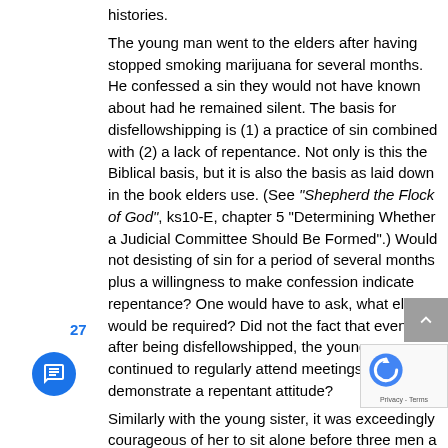histories.
The young man went to the elders after having stopped smoking marijuana for several months. He confessed a sin they would not have known about had he remained silent. The basis for disfellowshipping is (1) a practice of sin combined with (2) a lack of repentance. Not only is this the Biblical basis, but it is also the basis as laid down in the book elders use. (See “Shepherd the Flock of God”, ks10-E, chapter 5 “Determining Whether a Judicial Committee Should Be Formed”.) Would not desisting of sin for a period of several months plus a willingness to make confession indicate repentance? One would have to ask, what else would be required? Did not the fact that even after being disfellowshipped, the young man continued to regularly attend meetings demonstrate a repentant attitude?
Similarly with the young sister, it was exceedingly courageous of her to sit alone before three men and reveal the intimate details of her fornication. She could have kept it hidden, but she did not, nor was